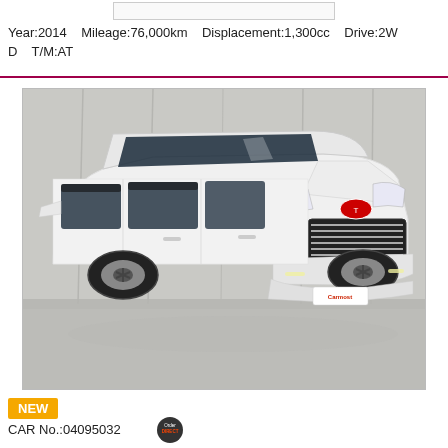Year:2014    Mileage:76,000km    Displacement:1,300cc    Drive:2WD    T/M:AT
[Figure (photo): White Toyota Vellfire/Alphard minivan photographed from front-left angle in a showroom with grey backdrop and polished floor. Vehicle has chrome grille, projector headlights, and body kit. Carmost dealer plate on front bumper.]
NEW
CAR No.:04095032